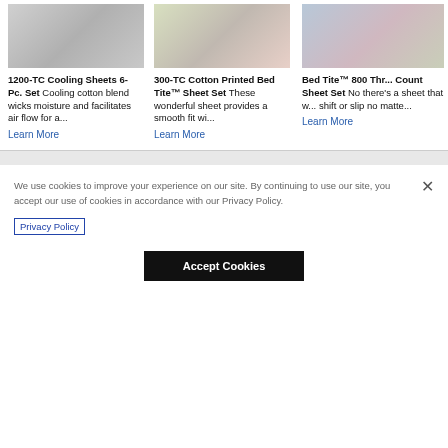[Figure (photo): White folded bed sheets - 1200-TC Cooling Sheets product image]
1200-TC Cooling Sheets 6-Pc. Set Cooling cotton blend wicks moisture and facilitates air flow for a...
Learn More
[Figure (photo): Floral printed bed sheets - 300-TC Cotton Printed Bed Tite Sheet Set product image]
300-TC Cotton Printed Bed Tite™ Sheet Set These wonderful sheet provides a smooth fit wi...
Learn More
[Figure (photo): Blue/pink bed sheets - Bed Tite 800 Thread Count Sheet Set product image]
Bed Tite™ 800 Thread Count Sheet Set No there's a sheet that will shift or slip no matter...
Learn More
We use cookies to improve your experience on our site. By continuing to use our site, you accept our use of cookies in accordance with our Privacy Policy.
Privacy Policy
Accept Cookies